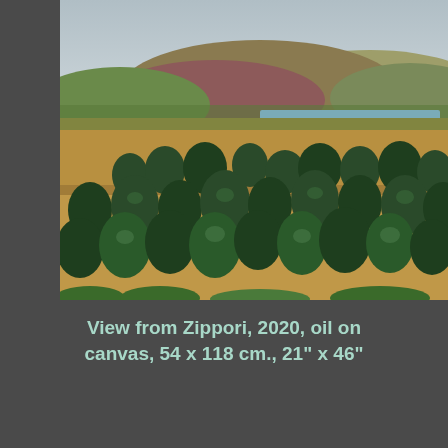[Figure (photo): A landscape painting showing rolling hills in the background with a body of water visible. In the foreground and middle ground are numerous dark green rounded trees/shrubs scattered across ochre-yellow terrain. The painting is titled 'View from Zippori', 2020, oil on canvas.]
View from Zippori, 2020, oil on canvas, 54 x 118 cm., 21" x 46"